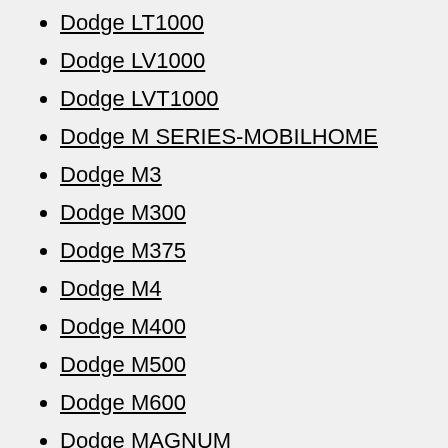Dodge LT1000
Dodge LV1000
Dodge LVT1000
Dodge M SERIES-MOBILHOME
Dodge M3
Dodge M300
Dodge M375
Dodge M4
Dodge M400
Dodge M500
Dodge M600
Dodge MAGNUM
Dodge MAXIVAN
Dodge MB3